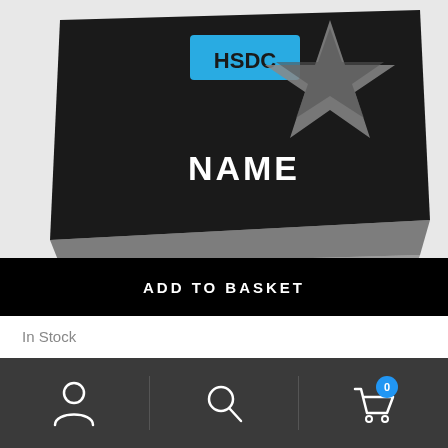[Figure (photo): Black rhinestone outfit carrier bag with HSDC logo in blue rectangle and a star design, with the word NAME embroidered in white text]
ADD TO BASKET
In Stock
HSDC RHINESTONE OUTFIT CARRIER